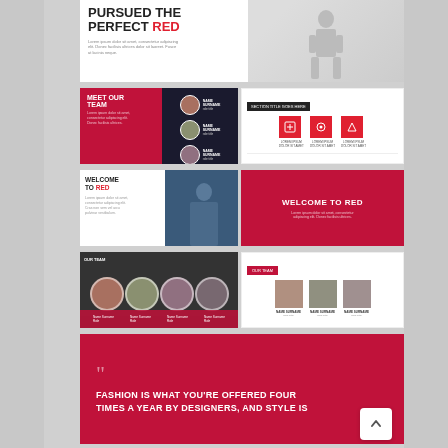[Figure (screenshot): Presentation template showcase showing multiple slide layouts. Top slide: bold title 'PURSUED THE PERFECT RED' with body text and fashion photo. Middle slides: 'MEET THE TEAM' dark slide with circular photos, services/icons slide, 'WELCOME TO RED' white and red slides, team member slides. Bottom: large red quote slide reading 'FASHION IS WHAT YOU'RE OFFERED FOUR TIMES A YEAR BY DESIGNERS, AND STYLE IS…']